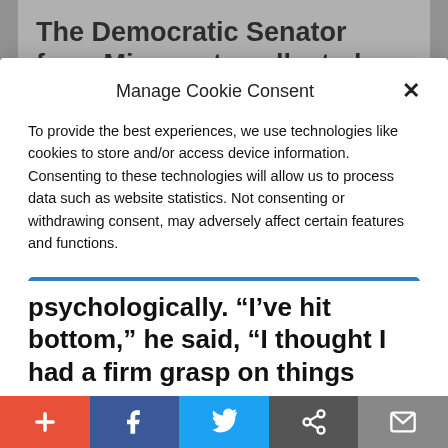The Democratic Senator from Minnesota collected a few more allegations of inappropriate behavior towards women
Manage Cookie Consent
To provide the best experiences, we use technologies like cookies to store and/or access device information. Consenting to these technologies will allow us to process data such as website statistics. Not consenting or withdrawing consent, may adversely affect certain features and functions.
Accept
Cookie Policy   Privacy Policy
psychologically. “I’ve hit bottom,” he said, “I thought I had a firm grasp on things
+ f Twitter share mail